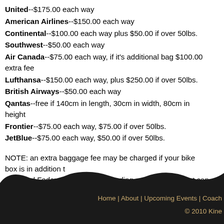United--$175.00 each way
American Airlines--$150.00 each way
Continental--$100.00 each way plus $50.00 if over 50lbs.
Southwest--$50.00 each way
Air Canada--$75.00 each way, if it's additional bag $100.00 extra fee
Lufthansa--$150.00 each way, plus $250.00 if over 50lbs.
British Airways--$50.00 each way
Qantas--free if 140cm in length, 30cm in width, 80cm in height
Frontier--$75.00 each way, $75.00 if over 50lbs.
JetBlue--$75.00 each way, $50.00 if over 50lbs.
NOTE: an extra baggage fee may be charged if your bike box is in addition t... UPS and Fedex prices vary depending on destination but can be quite pricey... correctly. Also, damage can incur more often during ground shipment. Cheers, Kerri
posted by halseya@washpost.com at 5:43 AM 1 comments
Home | About | Upcoming Events | Coach
© 2010 Kine